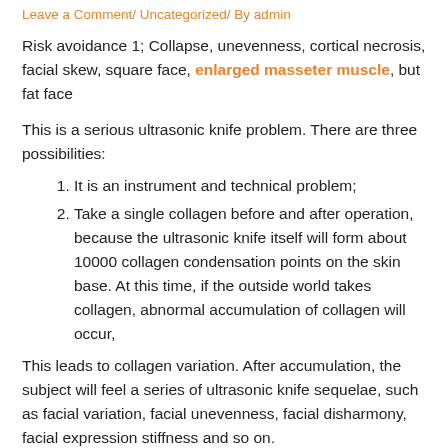Leave a Comment/ Uncategorized/ By admin
Risk avoidance 1; Collapse, unevenness, cortical necrosis, facial skew, square face, enlarged masseter muscle, but fat face
This is a serious ultrasonic knife problem. There are three possibilities:
1. It is an instrument and technical problem;
2. Take a single collagen before and after operation, because the ultrasonic knife itself will form about 10000 collagen condensation points on the skin base. At this time, if the outside world takes collagen, abnormal accumulation of collagen will occur,
This leads to collagen variation. After accumulation, the subject will feel a series of ultrasonic knife sequelae, such as facial variation, facial unevenness, facial disharmony, facial expression stiffness and so on.